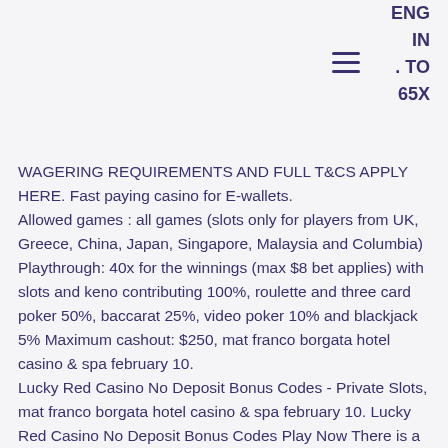ENG IN . TO 65X
WAGERING REQUIREMENTS AND FULL T&CS APPLY HERE. Fast paying casino for E-wallets. Allowed games : all games (slots only for players from UK, Greece, China, Japan, Singapore, Malaysia and Columbia) Playthrough: 40x for the winnings (max $8 bet applies) with slots and keno contributing 100%, roulette and three card poker 50%, baccarat 25%, video poker 10% and blackjack 5% Maximum cashout: $250, mat franco borgata hotel casino & spa february 10. Lucky Red Casino No Deposit Bonus Codes - Private Slots, mat franco borgata hotel casino & spa february 10. Lucky Red Casino No Deposit Bonus Codes Play Now There is a lot that can be. The lobby opens to show a